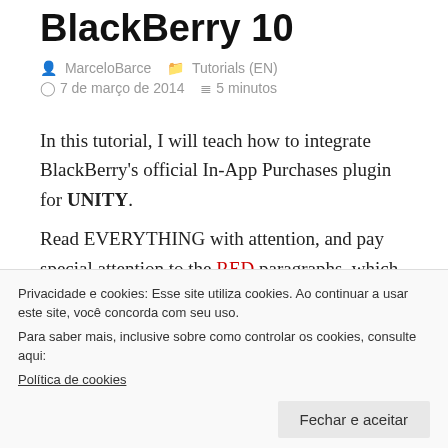BlackBerry 10
MarceloBarce  Tutorials (EN)
7 de março de 2014  5 minutos
In this tutorial, I will teach how to integrate BlackBerry's official In-App Purchases plugin for UNITY. Read EVERYTHING with attention, and pay special attention to the RED paragraphs, which will provide you vital information and save you from future trouble.
Privacidade e cookies: Esse site utiliza cookies. Ao continuar a usar este site, você concorda com seu uso.
Para saber mais, inclusive sobre como controlar os cookies, consulte aqui:
Política de cookies
Fechar e aceitar